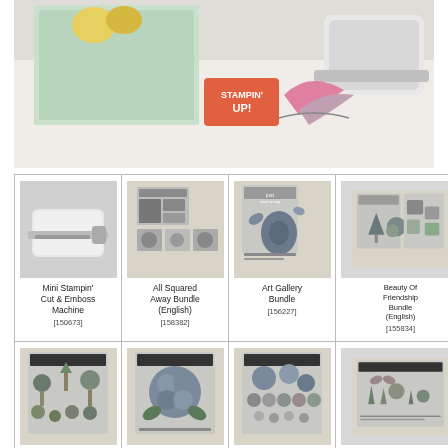[Figure (photo): Top banner photo showing Stampin' Up! products including a card, feather, flower decorations, and machine on a white surface]
[Figure (photo): Mini Stampin' Cut & Emboss Machine product image [150673]]
Mini Stampin' Cut & Emboss Machine [150673]
[Figure (photo): All Squared Away Bundle (English) product image [158382]]
All Squared Away Bundle (English) [158382]
[Figure (photo): Art Gallery Bundle product image [156227]]
Art Gallery Bundle [156227]
[Figure (photo): Beauty Of Friendship Bundle (English) product image [155834]]
Beauty Of Friendship Bundle (English) [155834]
[Figure (photo): Garden product image]
Garden
[Figure (photo): Hydrangea product image]
Hydrangea
[Figure (photo): Pansy Patch product image]
Pansy Patch
[Figure (photo): Quiet Meadow product image]
Quiet Meadow